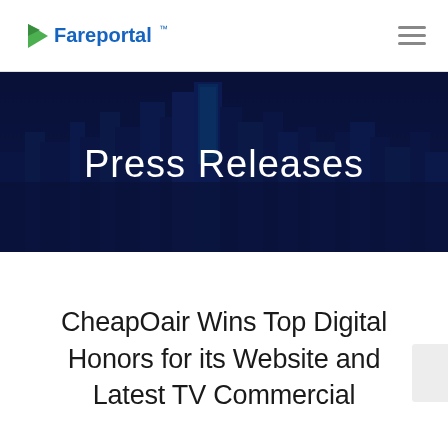Fareportal
[Figure (illustration): Hero banner with dark cityscape/skyline at night background overlaid with dark blue tint, containing centered text 'Press Releases']
CheapOair Wins Top Digital Honors for its Website and Latest TV Commercial